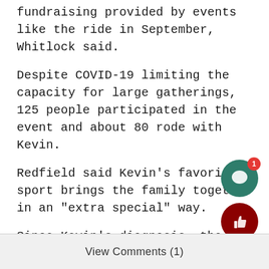fundraising provided by events like the ride in September, Whitlock said.
Despite COVID-19 limiting the capacity for large gatherings, 125 people participated in the event and about 80 rode with Kevin.
Redfield said Kevin’s favorite sport brings the family together in an “extra special” way.
Since Kevin’s diagnosis, the Hellers have been committed to doing what they can to help defeat ALS, and a diary of the family’s efforts to combat the disease can be found at @giveemheller on Instagram.
View Comments (1)